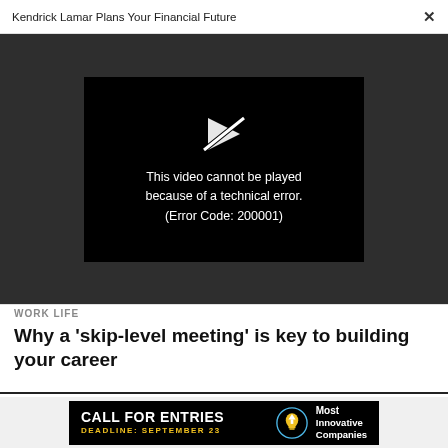Kendrick Lamar Plans Your Financial Future  ×
[Figure (screenshot): Video player showing error message: 'This video cannot be played because of a technical error. (Error Code: 200001)' with a broken play button icon on black background, within a dark gray video player area.]
WORK LIFE
Why a 'skip-level meeting' is key to building your career
[Figure (infographic): Advertisement banner: black background with 'CALL FOR ENTRIES' in large white bold text, 'DEADLINE: SEPTEMBER 23' in yellow below, a light bulb icon with upward arrow, and 'Most Innovative Companies' text on the right in white.]